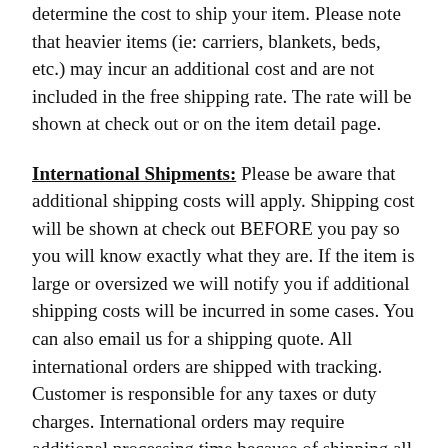determine the cost to ship your item. Please note that heavier items (ie: carriers, blankets, beds, etc.) may incur an additional cost and are not included in the free shipping rate. The rate will be shown at check out or on the item detail page.
International Shipments: Please be aware that additional shipping costs will apply. Shipping cost will be shown at check out BEFORE you pay so you will know exactly what they are. If the item is large or oversized we will notify you if additional shipping costs will be incurred in some cases. You can also email us for a shipping quote. All international orders are shipped with tracking. Customer is responsible for any taxes or duty charges. International orders may require additional processing time because of shipping all in one package verses from multiple warehouses.
Free shipping is not available to international